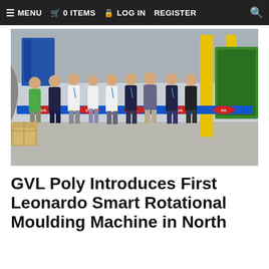≡ MENU  🛒 0 ITEMS  🔒 LOG IN  REGISTER  🔍
[Figure (photo): Group of approximately nine people standing in an industrial warehouse setting, cutting a blue ribbon branded with GVL logos. Participants are wearing a mix of white and dark polo shirts, some with lanyards. Yellow support pillars and industrial equipment visible in background.]
GVL Poly Introduces First Leonardo Smart Rotational Moulding Machine in North